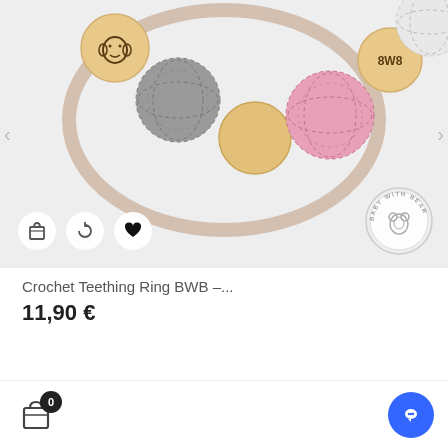[Figure (photo): Product photo of a crochet teething ring with wooden and crocheted beads in gray, pink, and white on a light gray background. Wooden beads have brand markings. Three circular icon buttons (shopping bag, refresh, heart) visible at bottom-left. Baby With Bear brand seal at bottom-right.]
Crochet Teething Ring BWB –...
11,90 €